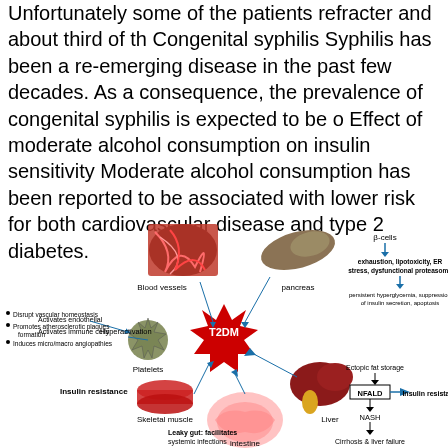Unfortunately some of the patients refracter and about third of th Congenital syphilis Syphilis has been a re-emerging disease in the past few decades. As a consequence, the prevalence of congenital syphilis is expected to be o Effect of moderate alcohol consumption on insulin sensitivity Moderate alcohol consumption has been reported to be associated with lower risk for both cardiovascular disease and type 2 diabetes.
[Figure (infographic): Medical infographic showing T2DM (Type 2 Diabetes Mellitus) pathophysiology diagram. Central red starburst labeled T2DM connected to: Blood vessels (with bullet points: Disrupt vascular homeostasis, Promotes atherosclerotic plaques formation, Induces micro/macro angiopathies), Pancreas (beta-cells -> exhaustion, lipotoxicity, ER stress, dysfunctional proteasome -> persistent hyperglycemia, suppression of insulin secretion, apoptosis), Platelets (Activates endothelial, Activates immune cells, Hyperactivation), Skeletal muscle (Insulin resistance), Intestine (Leaky gut: facilitates systemic infections; Gut microbiota dysbiosis: promotes inflammation), Liver (Ectopic fat storage -> NFALD -> Insulin resistance; NASH -> Cirrhosis & liver failure)]